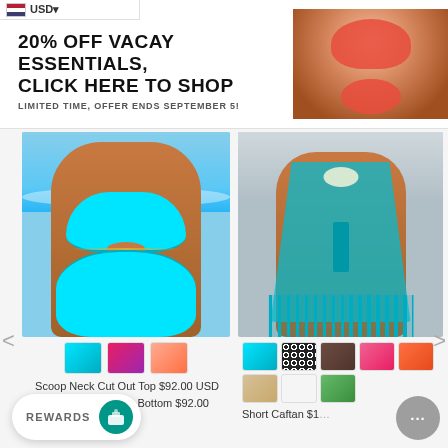USD
[Figure (photo): Promotional banner with text '20% OFF VACAY ESSENTIALS, CLICK HERE TO SHOP' and image of model in red bikini]
20% OFF VACAY ESSENTIALS, CLICK HERE TO SHOP
LIMITED TIME, OFFER ENDS SEPTEMBER 5!
[Figure (photo): Model wearing a teal/turquoise scoop neck cut out bikini top and high leg Brazilian bottom on a beach]
[Figure (photo): Model wearing a blue/turquoise short caftan cover-up with fringe]
Scoop Neck Cut Out Top $92.00 USD
High Leg Brazilian Bottom $92.00 USD
Short Caftan $1...
REWARDS